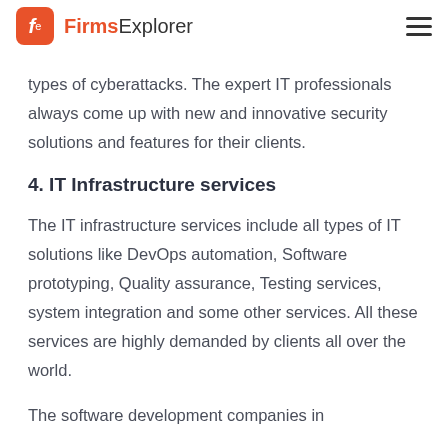FirmsExplorer
types of cyberattacks. The expert IT professionals always come up with new and innovative security solutions and features for their clients.
4. IT Infrastructure services
The IT infrastructure services include all types of IT solutions like DevOps automation, Software prototyping, Quality assurance, Testing services, system integration and some other services. All these services are highly demanded by clients all over the world.
The software development companies in